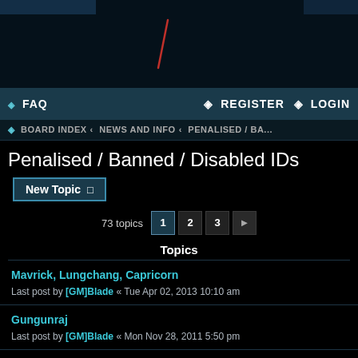[Figure (screenshot): Dark banner image with diagonal red/orange slash mark on black background]
FAQ   REGISTER   LOGIN
BOARD INDEX › NEWS AND INFO › PENALISED / BA...
Penalised / Banned / Disabled IDs
New Topic
73 topics  1  2  3  →
Topics
Mavrick, Lungchang, Capricorn
Last post by [GM]Blade « Tue Apr 02, 2013 10:10 am
Gungunraj
Last post by [GM]Blade « Mon Nov 28, 2011 5:50 pm
Katilhaseena,Jatti,Cubinswine,Arcane,Rawx
Last post by [GM]Blade « Sat Nov 19, 2011 7:57 pm